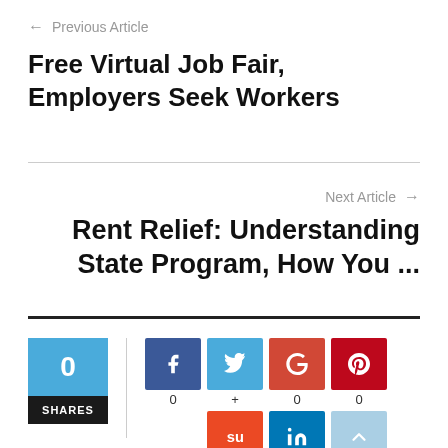← Previous Article
Free Virtual Job Fair, Employers Seek Workers
Next Article →
Rent Relief: Understanding State Program, How You ...
[Figure (infographic): Social share widget showing 0 total SHARES with buttons for Facebook (0), Twitter (+), Google+ (0), Pinterest (0), StumbleUpon, LinkedIn, and a scroll-to-top button]